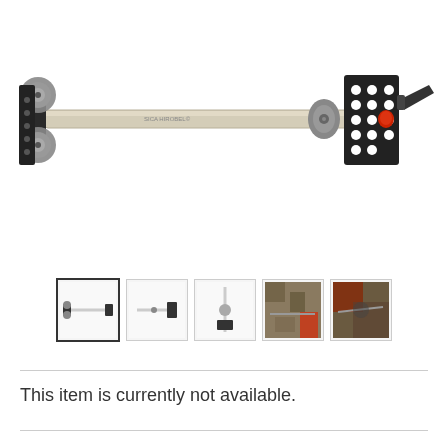[Figure (photo): Close-up photo of a SICA HIROBEL bicycle roof rack carrier, showing a silver/aluminum tube with grey rubber stoppers, black mounting brackets with holes, a quick-release lever, and a red end cap.]
[Figure (photo): Row of 5 thumbnail images of the bicycle rack product from different angles and in use on a vehicle.]
This item is currently not available.